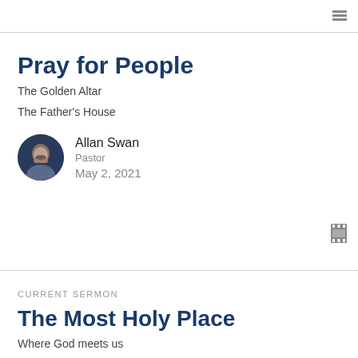Pray for People
The Golden Altar
The Father's House
Allan Swan
Pastor
May 2, 2021
CURRENT SERMON
The Most Holy Place
Where God meets us